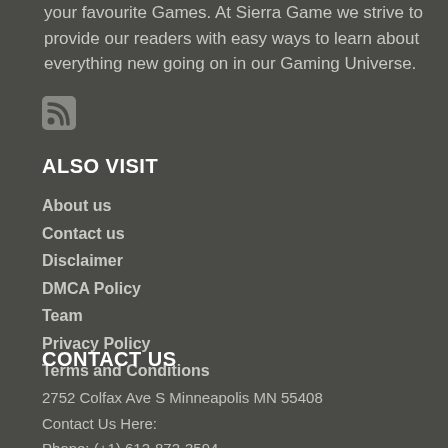your favourite Games. At Sierra Game we strive to provide our readers with easy ways to learn about everything new going on in our Gaming Universe.
[Figure (other): RSS feed icon]
ALSO VISIT
About us
Contact us
Disclaimer
DMCA Policy
Team
Privacy Policy
Terms and Conditions
CONTACT US
2752 Colfax Ave S Minneapolis MN 55408
Contact Us Here:
Phone: (+1) 612-872-3594